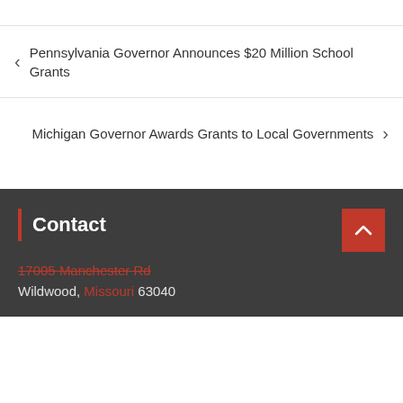Pennsylvania Governor Announces $20 Million School Grants
Michigan Governor Awards Grants to Local Governments
Contact
17005 Manchester Rd
Wildwood, Missouri 63040